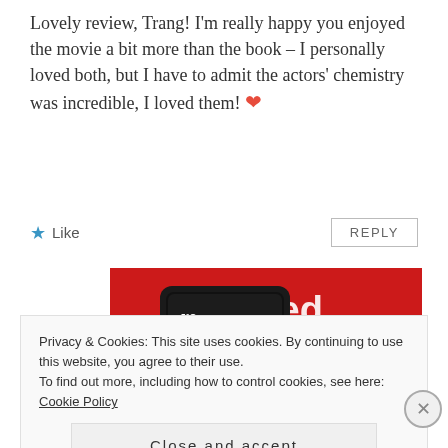Lovely review, Trang! I'm really happy you enjoyed the movie a bit more than the book – I personally loved both, but I have to admit the actors' chemistry was incredible, I loved them! ❤
★ Like    REPLY
[Figure (screenshot): Advertisement banner showing a smartphone with a podcast/audio app on a red background with 'Download now' button]
Privacy & Cookies: This site uses cookies. By continuing to use this website, you agree to their use.
To find out more, including how to control cookies, see here: Cookie Policy
Close and accept